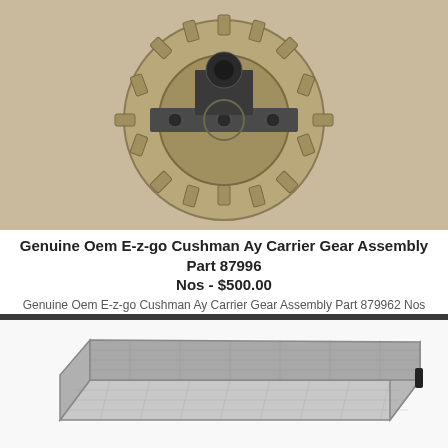[Figure (photo): Close-up photo of a gear assembly part, showing a toothed gear wheel with metallic components and bolts on a tan/beige background]
Genuine Oem E-z-go Cushman Ay Carrier Gear Assembly Part 879962 Nos - $500.00
Genuine Oem E-z-go Cushman Ay Carrier Gear Assembly Part 879962 Nos
Opened The Sealed Paper To Take Photos. Starting Price Is A Good Deal!
[Figure (photo): Black and white photo of a rectangular metal mesh/wire basket tray viewed from an angle]